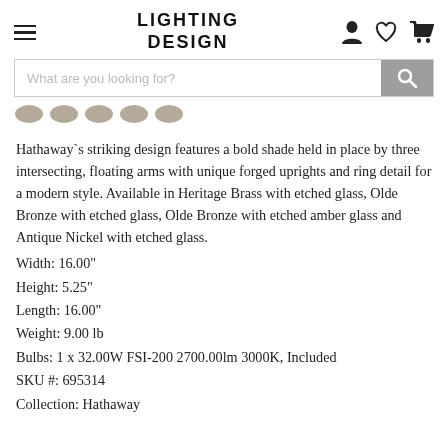LIGHTING DESIGN
Hathaway`s striking design features a bold shade held in place by three intersecting, floating arms with unique forged uprights and ring detail for a modern style. Available in Heritage Brass with etched glass, Olde Bronze with etched glass, Olde Bronze with etched amber glass and Antique Nickel with etched glass.
Width: 16.00"
Height: 5.25"
Length: 16.00"
Weight: 9.00 lb
Bulbs: 1 x 32.00W FSI-200 2700.00lm 3000K, Included
SKU #: 695314
Collection: Hathaway